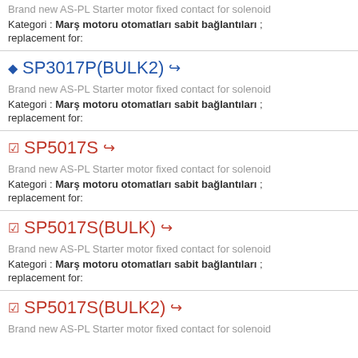Brand new AS-PL Starter motor fixed contact for solenoid
Kategori : Marş motoru otomatları sabit bağlantıları ; replacement for:
SP3017P(BULK2)
Brand new AS-PL Starter motor fixed contact for solenoid
Kategori : Marş motoru otomatları sabit bağlantıları ; replacement for:
SP5017S
Brand new AS-PL Starter motor fixed contact for solenoid
Kategori : Marş motoru otomatları sabit bağlantıları ; replacement for:
SP5017S(BULK)
Brand new AS-PL Starter motor fixed contact for solenoid
Kategori : Marş motoru otomatları sabit bağlantıları ; replacement for:
SP5017S(BULK2)
Brand new AS-PL Starter motor fixed contact for solenoid